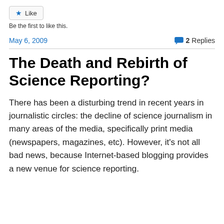[Figure (other): Like button with star icon]
Be the first to like this.
May 6, 2009
2 Replies
The Death and Rebirth of Science Reporting?
There has been a disturbing trend in recent years in journalistic circles: the decline of science journalism in many areas of the media, specifically print media (newspapers, magazines, etc). However, it's not all bad news, because Internet-based blogging provides a new venue for science reporting.